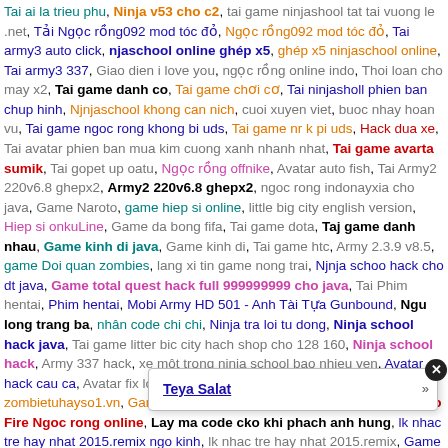Mixed Vietnamese search tag cloud with hyperlinks of various colors including orange, pink, blue, gray, red, green, teal, purple. A popup dialog overlays the bottom portion with a close X button and a 'Teya Salat' link with a right-arrow.